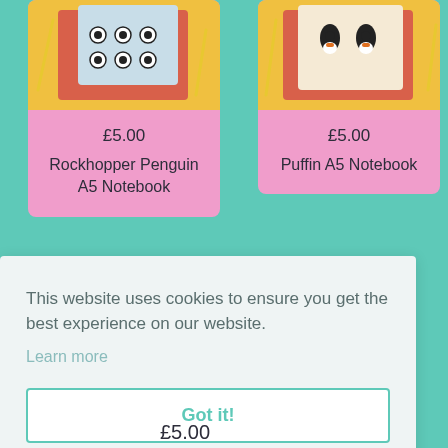[Figure (photo): Product card for Rockhopper Penguin A5 Notebook on pink background with product image at top showing notebook with penguin pattern]
£5.00
Rockhopper Penguin A5 Notebook
[Figure (photo): Product card for Puffin A5 Notebook on pink background with product image at top showing notebook with puffin pattern]
£5.00
Puffin A5 Notebook
This website uses cookies to ensure you get the best experience on our website.
Learn more
Got it!
£5.00